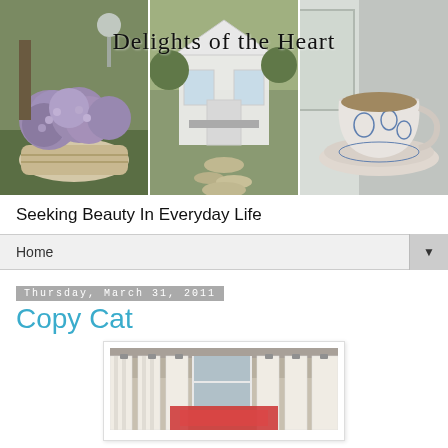[Figure (photo): Blog header banner with three photos side by side: left shows purple hydrangeas in a basket outdoors, center shows a white greenhouse/garden shed with stone path, right shows a blue and white teacup on saucer. Overlaid handwritten-style text reads 'Delights of the Heart'.]
Seeking Beauty In Everyday Life
Home
Thursday, March 31, 2011
Copy Cat
[Figure (photo): Photo of what appears to be a room with white curtain panels and a red element, shown in a white-bordered frame.]